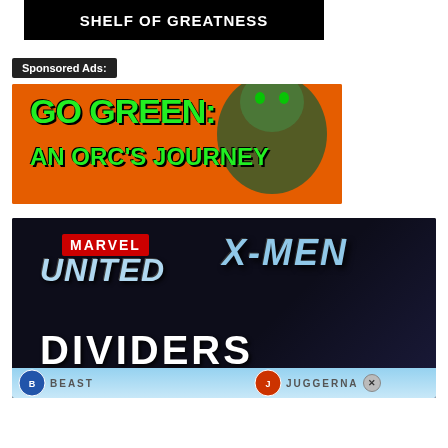[Figure (logo): Shelf of Greatness banner logo — black background with white bold text]
Sponsored Ads:
[Figure (illustration): Advertisement banner: orange background with green orc figure, bright green bold text reading GO GREEN: AN ORC'S JOURNEY]
[Figure (illustration): Advertisement banner: dark/black background with Marvel United X-Men Dividers logo art in blue/white/red text, bottom strip showing BEAST and JUGGERNAUT character labels]